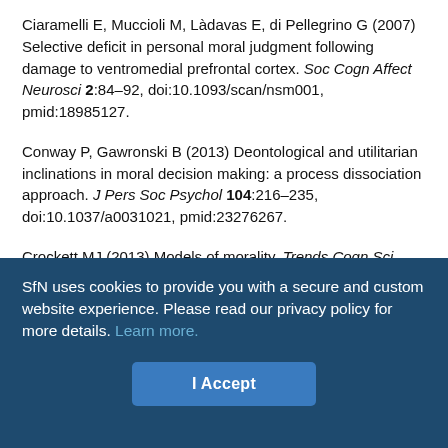Ciaramelli E, Muccioli M, Làdavas E, di Pellegrino G (2007) Selective deficit in personal moral judgment following damage to ventromedial prefrontal cortex. Soc Cogn Affect Neurosci 2:84–92, doi:10.1093/scan/nsm001, pmid:18985127.
Conway P, Gawronski B (2013) Deontological and utilitarian inclinations in moral decision making: a process dissociation approach. J Pers Soc Psychol 104:216–235, doi:10.1037/a0031021, pmid:23276267.
Crockett MJ (2013) Models of morality. Trends Cogn Sci 17:363–366, doi:10.1016/j.tics.2013.06.005, pmid:23845564.
Cushman F (2013) Action, outcome and value: a dual-system framework for morality. Pers Soc Psychol Rev 17:273–292, doi:10.1177/1088868313495594, pmid:23861355.
Cushman FA, Greene JD (2011) Finding faults: how moral dilemmas...
SfN uses cookies to provide you with a secure and custom website experience. Please read our privacy policy for more details. Learn more.